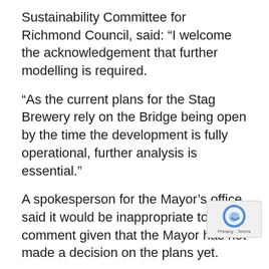Sustainability Committee for Richmond Council, said: “I welcome the acknowledgement that further modelling is required.
“As the current plans for the Stag Brewery rely on the Bridge being open by the time the development is fully operational, further analysis is essential.”
A spokesperson for the Mayor’s office said it would be inappropriate to comment given that the Mayor has not made a decision on the plans yet.
MBGC held a virtual zoom protest one day after the meeting was supposed to take place at which 73 supporters held up signs urging the Mayor to reject the plans for the development.
Francine Bates, the other co-chair of MBGC, explained why the group are opposing the pla…
She said: “The scheme in front of the mayor a…